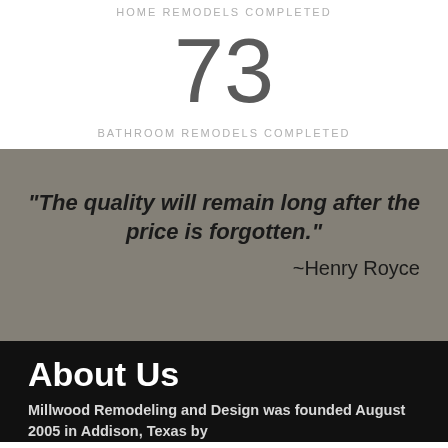HOME REMODELS COMPLETED
73
BATHROOM REMODELS COMPLETED
“The quality will remain long after the price is forgotten.” ~Henry Royce
About Us
Millwood Remodeling and Design was founded August 2005 in Addison, Texas by